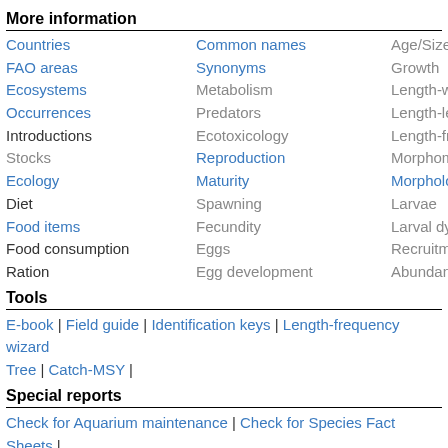More information
Countries | Common names | Age/Size
FAO areas | Synonyms | Growth
Ecosystems | Metabolism | Length-weight
Occurrences | Predators | Length-length
Introductions | Ecotoxicology | Length-frequencies
Stocks | Reproduction | Morphometrics
Ecology | Maturity | Morphology
Diet | Spawning | Larvae
Food items | Fecundity | Larval dynamics
Food consumption | Eggs | Recruitment
Ration | Egg development | Abundance
Tools
E-book | Field guide | Identification keys | Length-frequency wizard | Tree | Catch-MSY |
Special reports
Check for Aquarium maintenance | Check for Species Fact Sheets |
Download XML